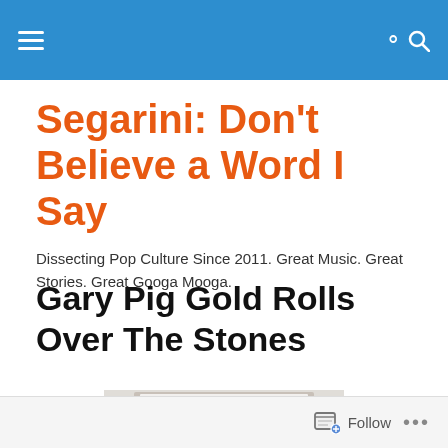Segarini: Don't Believe a Word I Say [navigation bar]
Segarini: Don't Believe a Word I Say
Dissecting Pop Culture Since 2011. Great Music. Great Stories. Great Googa Mooga.
Gary Pig Gold Rolls Over The Stones
[Figure (photo): A photo showing a red double door with the number 10 on it, set in a white frame.]
Follow ...